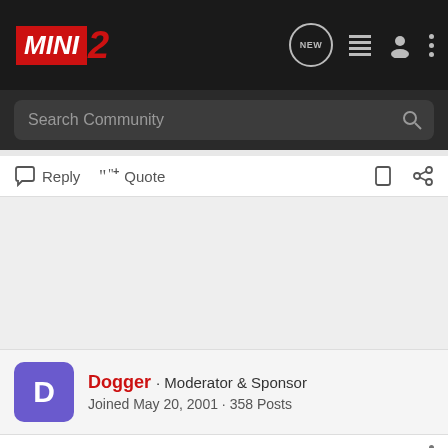MINI 2 — navigation bar with logo, NEW, list, user, and menu icons
Search Community
Reply   Quote
[Figure (other): Gray advertisement/blank area]
Dogger · Moderator & Sponsor
Joined May 20, 2001 · 358 Posts
#5 · Jan 30, 2002
normalizer said:
Not sure I understand the problem you are having, perhaps